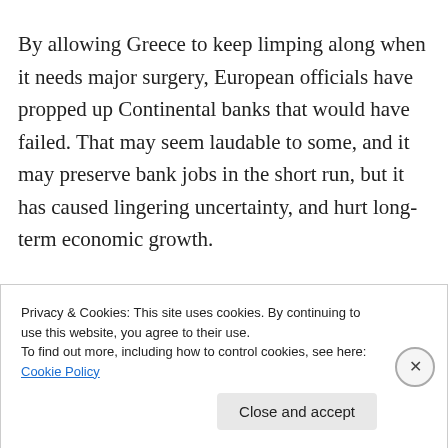By allowing Greece to keep limping along when it needs major surgery, European officials have propped up Continental banks that would have failed. That may seem laudable to some, and it may preserve bank jobs in the short run, but it has caused lingering uncertainty, and hurt long-term economic growth.

Contrast Europe with the U.S., where in the most recent financial crisis, the government allowed a
Privacy & Cookies: This site uses cookies. By continuing to use this website, you agree to their use.
To find out more, including how to control cookies, see here: Cookie Policy